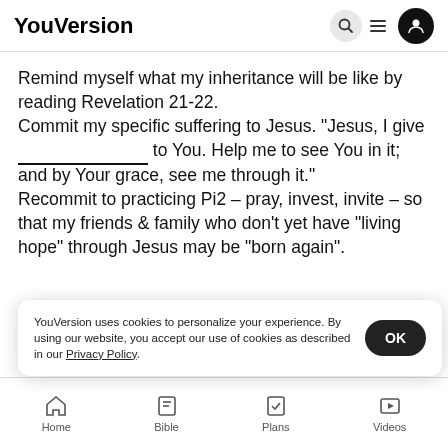YouVersion
Remind myself what my inheritance will be like by reading Revelation 21-22.
Commit my specific suffering to Jesus. “Jesus, I give ___________________ to You. Help me to see You in it; and by Your grace, see me through it.”
Recommit to practicing Pi2 – pray, invest, invite – so that my friends & family who don’t yet have “living hope” through Jesus may be “born again”.
YouVersion uses cookies to personalize your experience. By using our website, you accept our use of cookies as described in our Privacy Policy.
Home  Bible  Plans  Videos